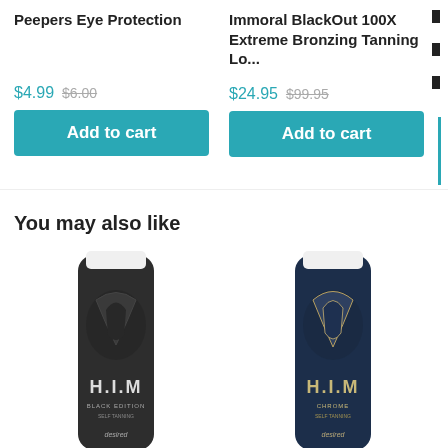Peepers Eye Protection
Immoral BlackOut 100X Extreme Bronzing Tanning Lo...
$4.99  $6.00
Add to cart
$24.95  $99.95
Add to cart
You may also like
[Figure (photo): Dark grey squeeze tube product labeled H.I.M BLACK EDITION by desired]
[Figure (photo): Dark navy blue squeeze tube product labeled H.I.M by desired]